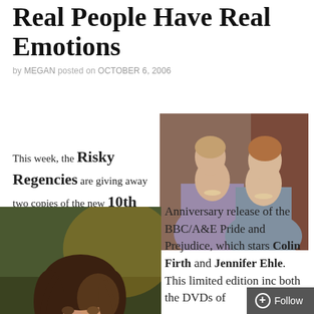Real People Have Real Emotions
by MEGAN posted on OCTOBER 6, 2006
This week, the Risky Regencies are giving away two copies of the new 10th
[Figure (photo): Two women in Regency-era costume dresses, posed together, from the BBC/A&E Pride and Prejudice production]
[Figure (photo): Close-up portrait of a young woman with dark hair, outdoors, from the BBC/A&E Pride and Prejudice]
Anniversary release of the BBC/A&E Pride and Prejudice, which stars Colin Firth and Jennifer Ehle. This limited edition inc both the DVDs of